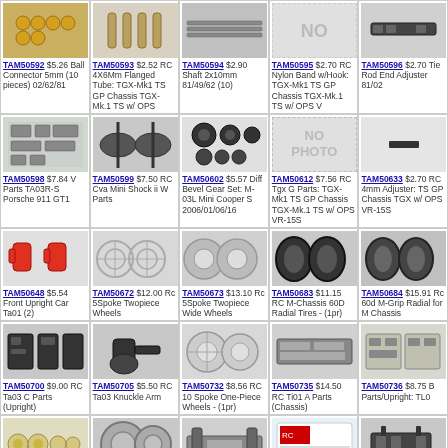[Figure (photo): Gold ball connectors]
TAM50592 $5.26 Ball Connector 5mm (10 pieces) 02/62/81
[Figure (photo): RC flanged tubes]
TAM50593 $2.52 RC 4X6Mm Flanged Tube: TGX-Mk1 TS GP Chassis TGX-Mk.1 TS w/ OPS
[Figure (photo): Metal shafts]
TAM50594 $2.90 Shaft 2x10mm 81/49/62 (10)
[Figure (photo): No photo available]
TAM50595 $2.70 RC Nylon Band w/Hook: TGX-Mk1 TS GP Chassis TGX-Mk.1 TS w/ OPS V
[Figure (photo): Tie rod end adjusters]
TAM50596 $2.70 Tie Rod End Adjuster 81/02
[Figure (photo): Plastic parts sprue V parts]
TAM50598 $7.84 V Parts TA03R-S Porsche 911 GT1
[Figure (photo): RC CVA mini shock]
TAM50599 $7.50 RC Cva Mini Shock ii W Parts
[Figure (photo): Diff bevel gear set parts]
TAM50602 $5.57 Diff Bevel Gear Set: M-03L Mini Cooper S 2006/01/06/16
[Figure (photo): No photo available]
TAM50612 $7.56 RC Tgx G Parts: TGX-Mk1 TS GP Chassis TGX-Mk.1 TS w/ OPS VR-15S
[Figure (photo): Small black rectangular part]
TAM50633 $2.70 RC 4mm Adjuster: TS GP Chassis TGX w/ OPS VR-15S
[Figure (photo): Red plastic front upright car parts]
TAM50648 $5.54 Front Upright Car Ta01 (2)
[Figure (photo): Clear 5-spoke two-piece wheels]
TAM50672 $12.00 Rc 5Spoke Twopiece Wheels
[Figure (photo): Clear 5-spoke wide two-piece wheels]
TAM50673 $13.10 Rc 5Spoke Twopiece Wide Wheels
[Figure (photo): Black rubber radial tires pair]
TAM50683 $11.15 RC M-Chassis 60D Radial Tires - (1pr)
[Figure (photo): 60D M-Grip radial tires for M chassis]
TAM50684 $15.91 Rc 60d M-Grip Radial for M Chassis
[Figure (photo): RC TA03 C parts upright black plastic]
TAM50700 $9.00 RC Ta03 C Parts (Upright)
[Figure (photo): RC TA03 knuckle arm parts]
TAM50705 $5.50 RC Ta03 Knuckle Arm
[Figure (photo): Silver 10-spoke one-piece wheels]
TAM50732 $8.56 RC 10 Spoke One-Piece Wheels - (1pr)
[Figure (photo): RC TI01 A parts chassis]
TAM50735 $14.50 RC Ti01 A Parts (Chassis)
[Figure (photo): RC B parts upright TL]
TAM50736 $8.75 B Parts/Upright: TL0
[Figure (photo): Cream colored gears and pulleys]
[Figure (photo): Silver two-piece wheels]
[Figure (photo): RC parts on sprue]
[Figure (photo): RC kit box packaging]
[Figure (photo): RC parts assembly]